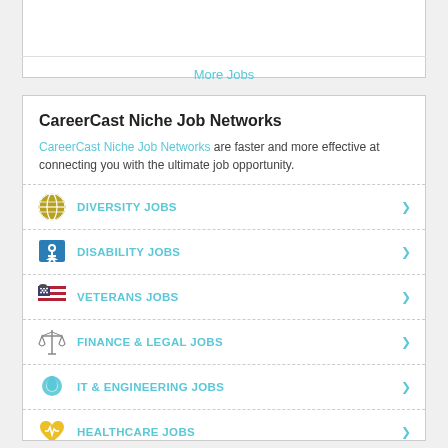More Jobs
CareerCast Niche Job Networks
CareerCast Niche Job Networks are faster and more effective at connecting you with the ultimate job opportunity.
DIVERSITY JOBS
DISABILITY JOBS
VETERANS JOBS
FINANCE & LEGAL JOBS
IT & ENGINEERING JOBS
HEALTHCARE JOBS
NURSING JOBS
TEMPORARY & PART-TIME JOBS